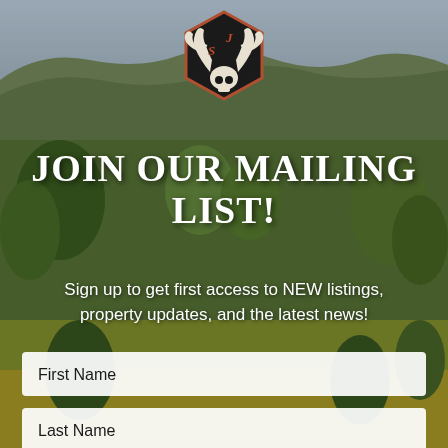[Figure (illustration): Outdoor landscape background with rolling green hills, trees, and a sky. An overlay darkens the image slightly. In the center top, a hexagonal black logo with antler and skull illustration, with 'S' and 'J' in orange script lettering.]
JOIN OUR MAILING LIST!
Sign up to get first access to NEW listings, property updates, and the latest news!
First Name
Last Name